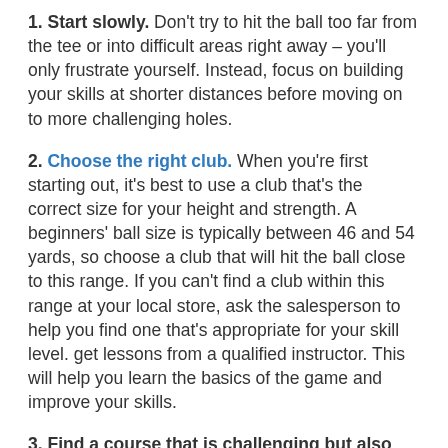1. Start slowly. Don't try to hit the ball too far from the tee or into difficult areas right away – you'll only frustrate yourself. Instead, focus on building your skills at shorter distances before moving on to more challenging holes.
2. Choose the right club. When you're first starting out, it's best to use a club that's the correct size for your height and strength. A beginners' ball size is typically between 46 and 54 yards, so choose a club that will hit the ball close to this range. If you can't find a club within this range at your local store, ask the salesperson to help you find one that's appropriate for your skill level. get lessons from a qualified instructor. This will help you learn the basics of the game and improve your skills.
3. Find a course that is challenging but also forgiving. It's important to learn how to hit the ball in the right direction. A course that is too hard may make you give up on golf altogether. When hitting a shot, practice until you feel completely comfortable with it. When you're out on the course, keep your eye on the ball. You want to make sure that it goes where you want it to go. Practice every day and make sure to play every day. Try to find a golf course that is beginner-friendly. Many courses have areas specifically designed for